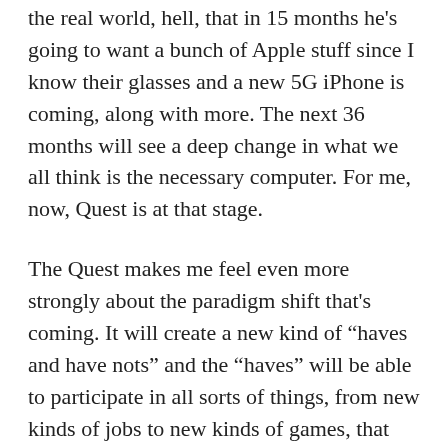the real world, hell, that in 15 months he's going to want a bunch of Apple stuff since I know their glasses and a new 5G iPhone is coming, along with more. The next 36 months will see a deep change in what we all think is the necessary computer. For me, now, Quest is at that stage.
The Quest makes me feel even more strongly about the paradigm shift that's coming. It will create a new kind of “haves and have nots” and the “haves” will be able to participate in all sorts of things, from new kinds of jobs to new kinds of games, that the “have nots” won’t have.
I’m talking about 2022, but already I’m seeing how work is changing, check out my last few videos on YouTube